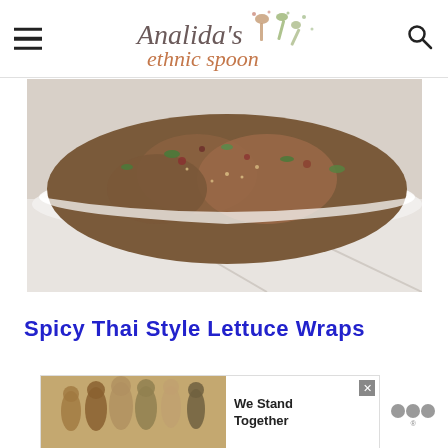Analida's ethnic spoon
[Figure (photo): Close-up of a white bowl containing spicy Thai style lettuce wrap filling — seasoned ground meat with vegetables including green onions and colorful garnishes on a white surface]
Spicy Thai Style Lettuce Wraps
[Figure (other): Advertisement banner: people standing together with text 'We Stand Together', with close/X button and Mediavine logo]